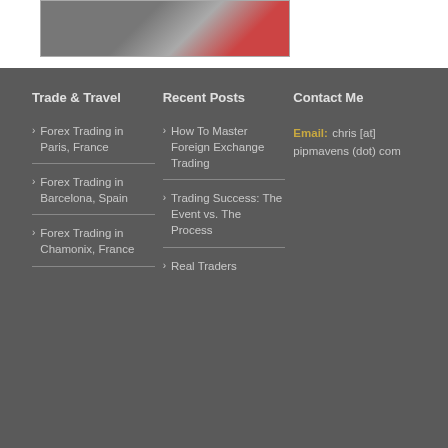[Figure (photo): Partial website screenshot showing a financial/trading image at top of page]
Trade & Travel
Forex Trading in Paris, France
Forex Trading in Barcelona, Spain
Forex Trading in Chamonix, France
Recent Posts
How To Master Foreign Exchange Trading
Trading Success: The Event vs. The Process
Real Traders
Contact Me
Email: chris [at] pipmavens (dot) com